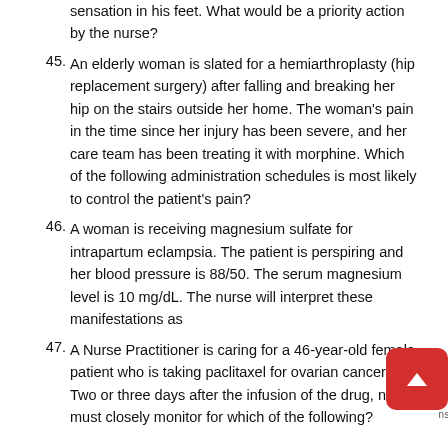sensation in his feet. What would be a priority action by the nurse?
45. An elderly woman is slated for a hemiarthroplasty (hip replacement surgery) after falling and breaking her hip on the stairs outside her home. The woman's pain in the time since her injury has been severe, and her care team has been treating it with morphine. Which of the following administration schedules is most likely to control the patient's pain?
46. A woman is receiving magnesium sulfate for intrapartum eclampsia. The patient is perspiring and her blood pressure is 88/50. The serum magnesium level is 10 mg/dL. The nurse will interpret these manifestations as
47. A Nurse Practitioner is caring for a 46-year-old female patient who is taking paclitaxel for ovarian cancer. Two or three days after the infusion of the drug, the nurse must closely monitor for which of the following?